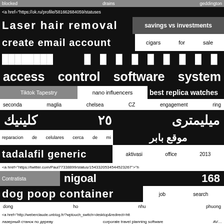blocked   drains   geddington
<a href="https://ok.ru/profile/581662684059/statuses
Laser  hair  removal   savings vs investments
create   email   account   cigars  for  sale
█████████   █  █  █  █  █  █  █  █  █
access  control  software  system
Tiktok Tapestry   nano influencers   best replica watches
seconda  maglia  chelsea   CZ  engagement  ring
كلينيك  ٢٥  ميليمتری
reparacion de celulares cerca de mi   موقع بابر
tadalafil    generic   aktivasi  office  2013
<a href="https://twitter.com/Paul77338899/status/1543320534544523267">"h
Contratista   nigoal   168
dog   poop   container   job  search
dong   ho   nhu   phuong
<a href="http://weberclaude.unblog.fr/?wptouch_switch=desktop&redirect=htt
лазерный станок по дереву  corporate travel planning software  AV…
Bimi   svg
<a href="https://vk.com/wall-214308716_103">"https://vk.com/wall-
<a href="https://images.google.cd/url?q=https://gpurental.com/">"https://image